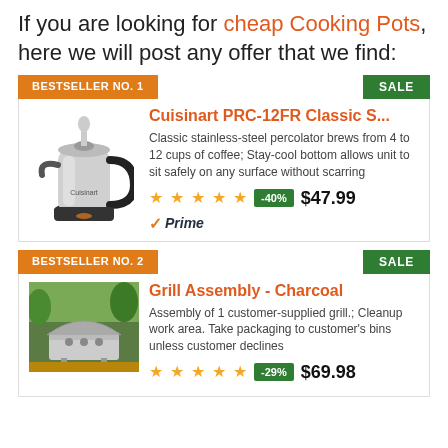If you are looking for cheap Cooking Pots, here we will post any offer that we find:
BESTSELLER NO. 1
SALE
Cuisinart PRC-12FR Classic S...
Classic stainless-steel percolator brews from 4 to 12 cups of coffee; Stay-cool bottom allows unit to sit safely on any surface without scarring
4.5 stars  -40%  $47.99
Prime
BESTSELLER NO. 2
SALE
Grill Assembly - Charcoal
Assembly of 1 customer-supplied grill.; Cleanup work area. Take packaging to customer's bins unless customer declines
5 stars  -29%  $69.98